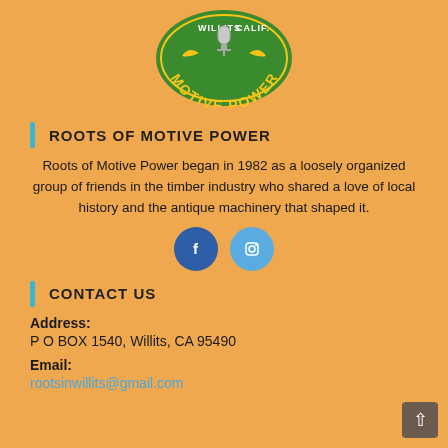[Figure (logo): Roots of Motive Power circular logo with green background, yellow text reading WILLITS CALIF. MOTIVE POWER, with a central microphone/speaker image and decorative wheat/leaf elements.]
ROOTS OF MOTIVE POWER
Roots of Motive Power began in 1982 as a loosely organized group of friends in the timber industry who shared a love of local history and the antique machinery that shaped it.
[Figure (illustration): Two social media icon circles: Facebook (dark blue) and Instagram (light blue)]
CONTACT US
Address: P O BOX 1540, Willits, CA 95490
Email: rootsinwillits@gmail.com